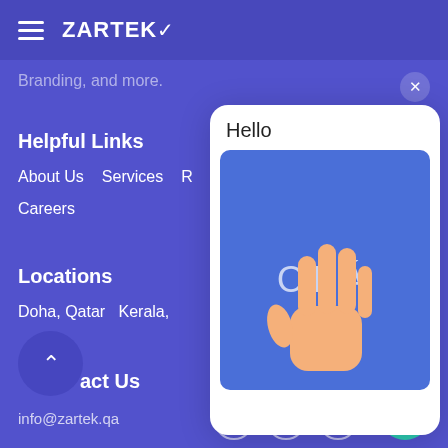ZARTEK
Branding, and more.
Helpful Links
About Us   Services   R...
Careers
Locations
Doha, Qatar   Kerala,
act Us
info@zartek.qa
[Figure (illustration): A modal card popup showing 'Hello' at the top, a blue square with the text 'OLÁ' and a waving hand illustration below.]